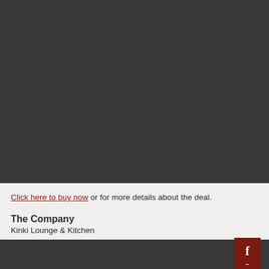[Figure (other): Dark gray background image area occupying the upper portion of the page]
Click here to buy now or for more details about the deal.
The Company
Kinki Lounge & Kitchen